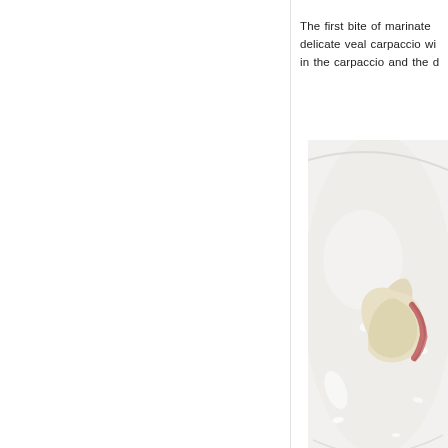The first bite of marinate delicate veal carpaccio wi in the carpaccio and the d
[Figure (photo): A close-up photograph of a white plate with a folded piece of veal carpaccio, showing thin pale meat with a pinkish-red edge, on a white ceramic plate with glistening highlights.]